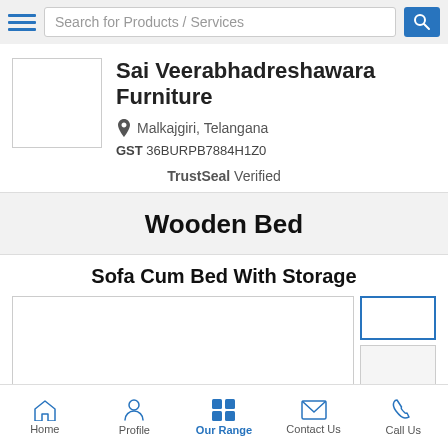Search for Products / Services
Sai Veerabhadreshawara Furniture
Malkajgiri, Telangana
GST 36BURPB7884H1Z0
TrustSeal Verified
Wooden Bed
Sofa Cum Bed With Storage
[Figure (photo): Product image area for Sofa Cum Bed With Storage with thumbnail images on the right]
Home | Profile | Our Range | Contact Us | Call Us